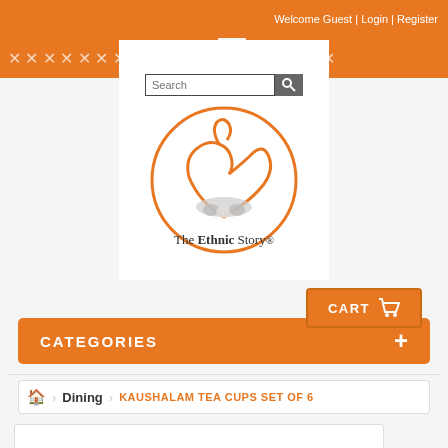Welcome Guest | Login | Register
[Figure (logo): The Ethnic Story logo — orange circle with swan graphic and text 'The Ethnic Story']
CART
CATEGORIES +
Dining > KAUSHALAM TEA CUPS SET OF 6